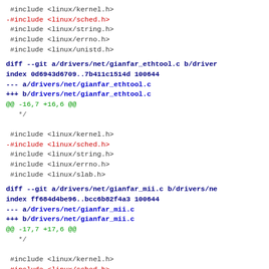#include <linux/kernel.h>
-#include <linux/sched.h>
 #include <linux/string.h>
 #include <linux/errno.h>
 #include <linux/unistd.h>
diff --git a/drivers/net/gianfar_ethtool.c b/drivers/net/gianfar_ethtool.c
index 0d6943d6709..7b411c1514d 100644
--- a/drivers/net/gianfar_ethtool.c
+++ b/drivers/net/gianfar_ethtool.c
@@ -16,7 +16,6 @@
   */

 #include <linux/kernel.h>
-#include <linux/sched.h>
 #include <linux/string.h>
 #include <linux/errno.h>
 #include <linux/slab.h>
diff --git a/drivers/net/gianfar_mii.c b/drivers/net/gianfar_mii.c
index ff684d4be96..bcc6b82f4a3 100644
--- a/drivers/net/gianfar_mii.c
+++ b/drivers/net/gianfar_mii.c
@@ -17,7 +17,6 @@
   */

 #include <linux/kernel.h>
-#include <linux/sched.h>
 #include <linux/string.h>
 #include <linux/errno.h>